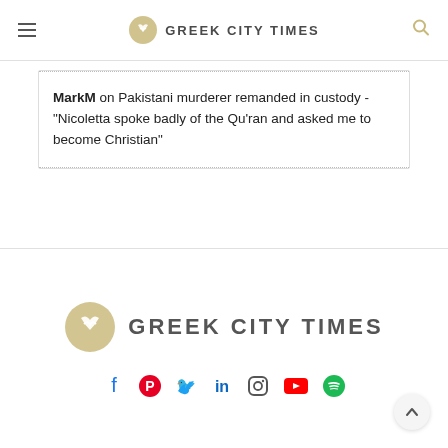GREEK CITY TIMES
MarkM on Pakistani murderer remanded in custody - "Nicoletta spoke badly of the Qu'ran and asked me to become Christian"
[Figure (logo): Greek City Times logo with circle emblem and text GREEK CITY TIMES]
[Figure (infographic): Social media icons row: Facebook, Pinterest, Twitter, LinkedIn, Instagram, YouTube, Spotify]